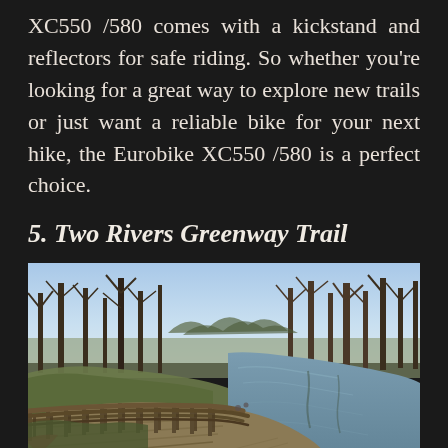XC550 /580 comes with a kickstand and reflectors for safe riding. So whether you're looking for a great way to explore new trails or just want a reliable bike for your next hike, the Eurobike XC550 /580 is a perfect choice.
5. Two Rivers Greenway Trail
[Figure (photo): Outdoor photo of the Two Rivers Greenway Trail showing a wooden boardwalk/bridge curving alongside a calm river. Bare winter trees line both sides of the river. The boardwalk has wooden railings on both sides. Blue sky with light clouds visible in the upper right.]